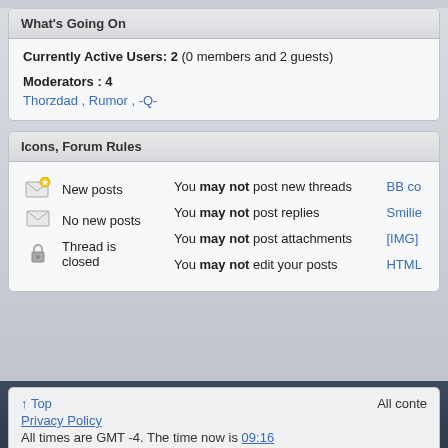What's Going On
Currently Active Users: 2 (0 members and 2 guests)
Moderators : 4
Thorzdad , Rumor , -Q-
Icons, Forum Rules
New posts
No new posts
Thread is closed
You may not post new threads
You may not post replies
You may not post attachments
You may not edit your posts
BB co
Smilie
[IMG]
HTML
↑ Top
Privacy Policy
All times are GMT -4. The time now is 09:16
All conte